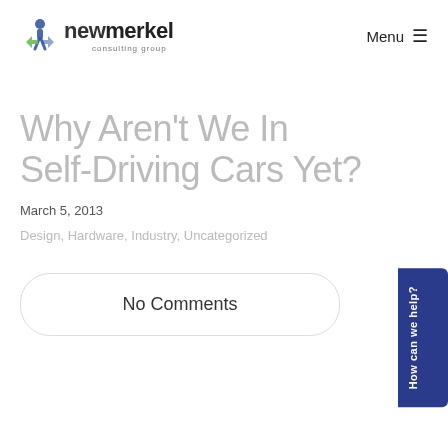newmerkel consulting group — Menu
Why Aren't We In Self-Driving Cars Yet?
March 5, 2013
Design, Hardware, Industry, Uncategorized
No Comments